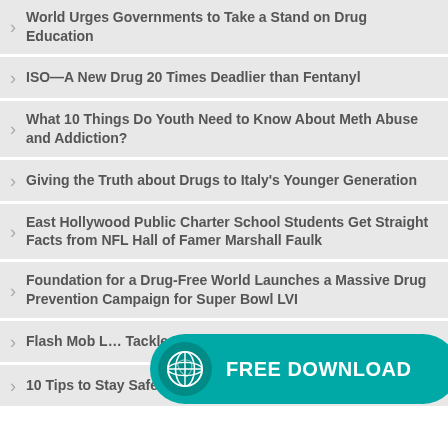World Urges Governments to Take a Stand on Drug Education
ISO—A New Drug 20 Times Deadlier than Fentanyl
What 10 Things Do Youth Need to Know About Meth Abuse and Addiction?
Giving the Truth about Drugs to Italy's Younger Generation
East Hollywood Public Charter School Students Get Straight Facts from NFL Hall of Famer Marshall Faulk
Foundation for a Drug-Free World Launches a Massive Drug Prevention Campaign for Super Bowl LVI
Flash Mob L… Tackle Dru…
10 Tips to Stay Safe and Healthy During the Holidays